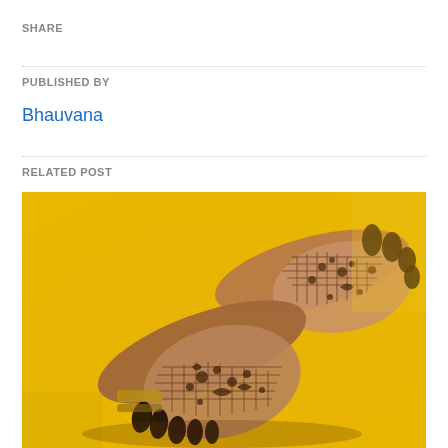SHARE
PUBLISHED BY
Bhauvana
RELATED POST
[Figure (photo): Close-up photograph of two hands adorned with intricate henna/mehndi designs, displayed against a bright yellow background. The hands are shown palm-side up with dark henna patterns covering the palms, fingers, and extending up the forearms.]